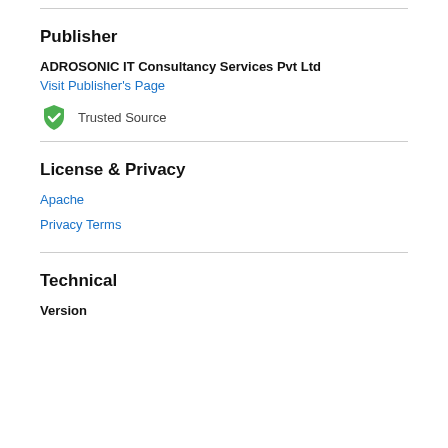Publisher
ADROSONIC IT Consultancy Services Pvt Ltd
Visit Publisher's Page
Trusted Source
License & Privacy
Apache
Privacy Terms
Technical
Version